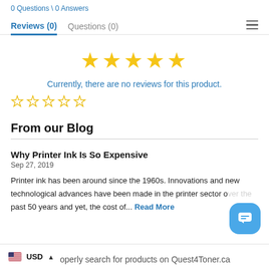0 Questions \ 0 Answers
Reviews (0)	Questions (0)
[Figure (illustration): Five filled gold stars rating display]
Currently, there are no reviews for this product.
[Figure (illustration): Five empty/outline gold stars]
From our Blog
Why Printer Ink Is So Expensive
Sep 27, 2019
Printer ink has been around since the 1960s. Innovations and new technological advances have been made in the printer sector over the past 50 years and yet, the cost of... Read More
USD  ...operly search for products on Quest4Toner.ca